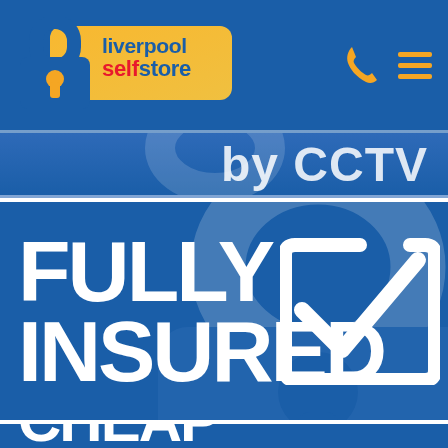[Figure (logo): Liverpool Self Store logo with padlock icon on gold/orange rounded rectangle background]
by CCTV
FULLY INSURED
CHEAP